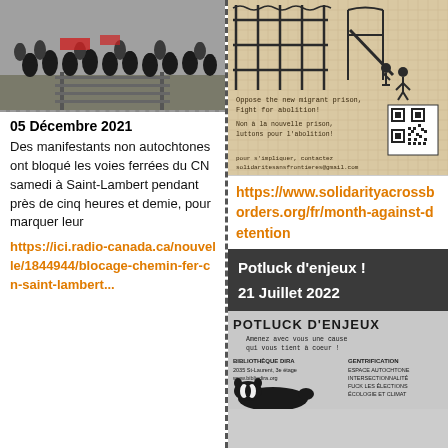[Figure (photo): Photo of protesters on railway tracks, police in riot gear surrounding them]
05 Décembre 2021
Des manifestants non autochtones ont bloqué les voies ferrées du CN samedi à Saint-Lambert pendant près de cinq heures et demie, pour marquer leur
https://ici.radio-canada.ca/nouvelle/1844944/blocage-chemin-fer-cn-saint-lambert...
[Figure (photo): Poster opposing new migrant prison with illustration of fence and children, QR code, text in English and French: Oppose the new migrant prison, Fight for abolition! / Non à la nouvelle prison, luttons pour l'abolition!]
https://www.solidarityacrossborders.org/fr/month-against-detention
Potluck d'enjeux !

21 Juillet 2022
[Figure (photo): Potluck d'enjeux flyer - Amenez avec vous une cause qui vous tient à coeur! Bibliothèque DIRA, 2035 St-Laurent, 3e étage, www.bibliodira.org. Topics: Gentrification, Espace Autochtone, Intersectionnalité, Fuck les élections, Écologie et Climat]